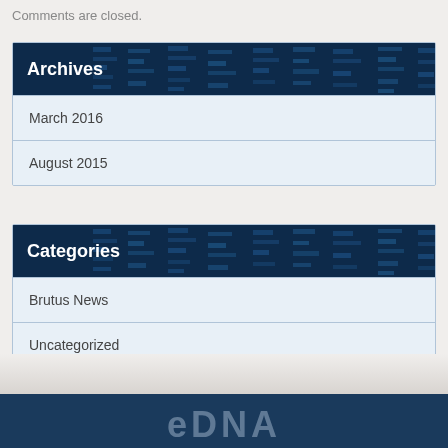Comments are closed.
Archives
March 2016
August 2015
Categories
Brutus News
Uncategorized
eDNA